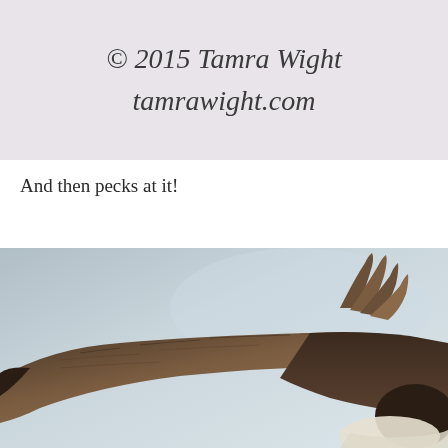[Figure (photo): Copyright watermark on light mauve/lilac background reading '© 2015 Tamra Wight tamrawight.com' in italic handwritten-style font]
And then pecks at it!
[Figure (photo): Close-up photograph of a bird in flight against a pale blue-grey sky, showing spread brown wings from below, with a white patch visible at the bottom]